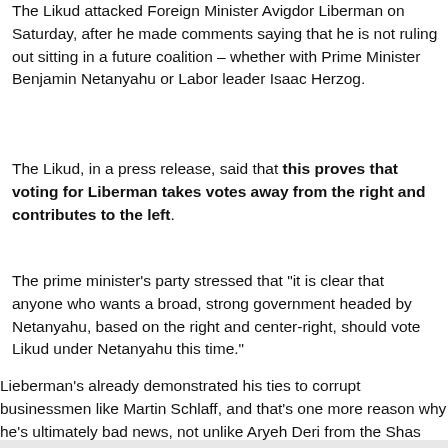The Likud attacked Foreign Minister Avigdor Liberman on Saturday, after he made comments saying that he is not ruling out sitting in a future coalition – whether with Prime Minister Benjamin Netanyahu or Labor leader Isaac Herzog.
The Likud, in a press release, said that this proves that voting for Liberman takes votes away from the right and contributes to the left.
The prime minister's party stressed that "it is clear that anyone who wants a broad, strong government headed by Netanyahu, based on the right and center-right, should vote Likud under Netanyahu this time."
Lieberman's already demonstrated his ties to corrupt businessmen like Martin Schlaff, and that's one more reason why he's ultimately bad news, not unlike Aryeh Deri from the Shas party.